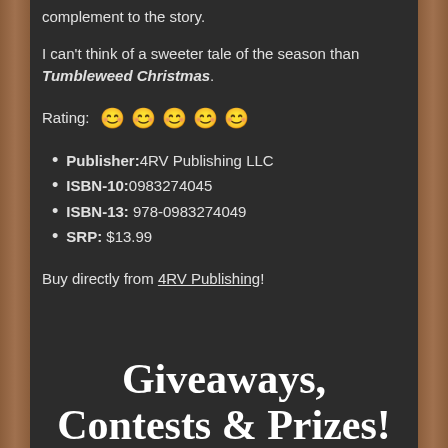complement to the story.

I can't think of a sweeter tale of the season than Tumbleweed Christmas.
Rating: 😊😊😊😊😊
Publisher: 4RV Publishing LLC
ISBN-10: 0983274045
ISBN-13: 978-0983274049
SRP: $13.99
Buy directly from 4RV Publishing!
Giveaways, Contests & Prizes!